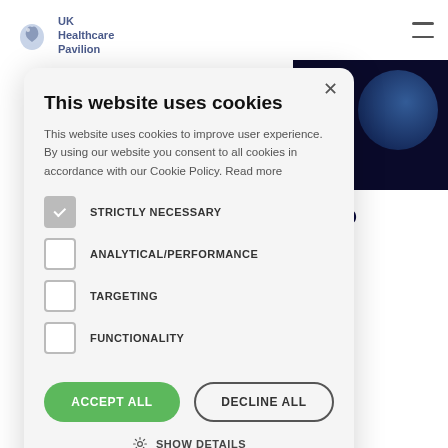[Figure (logo): UK Healthcare Pavilion logo with lion/animal icon]
This website uses cookies
This website uses cookies to improve user experience. By using our website you consent to all cookies in accordance with our Cookie Policy. Read more
STRICTLY NECESSARY (checked)
ANALYTICAL/PERFORMANCE
TARGETING
FUNCTIONALITY
ACCEPT ALL
DECLINE ALL
SHOW DETAILS
POWERED BY COOKIE-SCRIPT